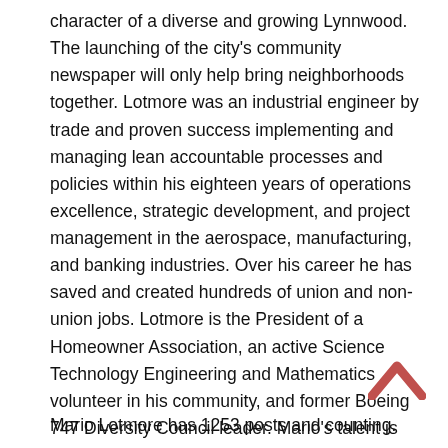character of a diverse and growing Lynnwood. The launching of the city's community newspaper will only help bring neighborhoods together. Lotmore was an industrial engineer by trade and proven success implementing and managing lean accountable processes and policies within his eighteen years of operations excellence, strategic development, and project management in the aerospace, manufacturing, and banking industries. Over his career he has saved and created hundreds of union and non-union jobs. Lotmore is the President of a Homeowner Association, an active Science Technology Engineering and Mathematics volunteer in his community, and former Boeing 747 Diversity Council leader. Mario's talent is finding “that recipe” of shared destiny to effectively improve the quality of life for others.
Mario Lotmore has 1253 posts and counting.